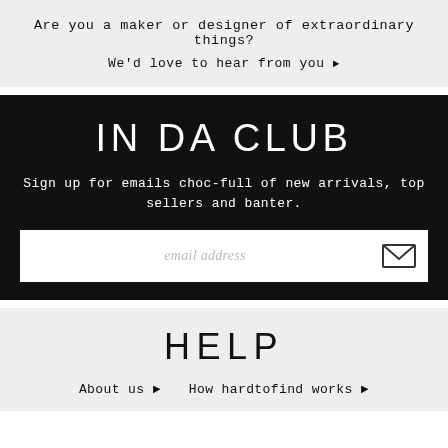Are you a maker or designer of extraordinary things?
We'd love to hear from you ▶
IN DA CLUB
Sign up for emails choc-full of new arrivals, top sellers and banter.
[Figure (other): Email input field with placeholder text 'email address' and an envelope/mail icon button on the right]
HELP
About us ▶  How hardtofind works ▶